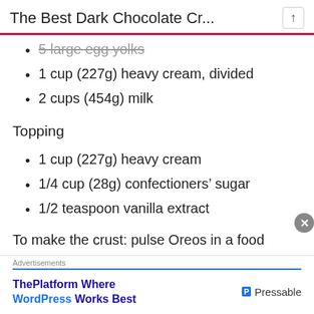The Best Dark Chocolate Cr...
5 large egg yolks
1 cup (227g) heavy cream, divided
2 cups (454g) milk
Topping
1 cup (227g) heavy cream
1/4 cup (28g) confectioners' sugar
1/2 teaspoon vanilla extract
To make the crust: pulse Oreos in a food processor
Advertisements
ThePlatform Where WordPress Works Best — Pressable